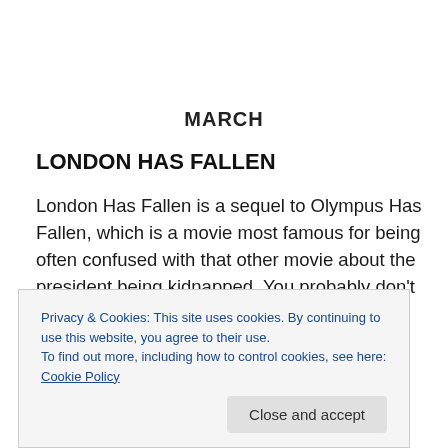MARCH
LONDON HAS FALLEN
London Has Fallen is a sequel to Olympus Has Fallen, which is a movie most famous for being often confused with that other movie about the president being kidnapped.  You probably don't need me to say more.
Privacy & Cookies: This site uses cookies. By continuing to use this website, you agree to their use.
To find out more, including how to control cookies, see here: Cookie Policy
Gerard Butler can stop it because he's super dedicated to